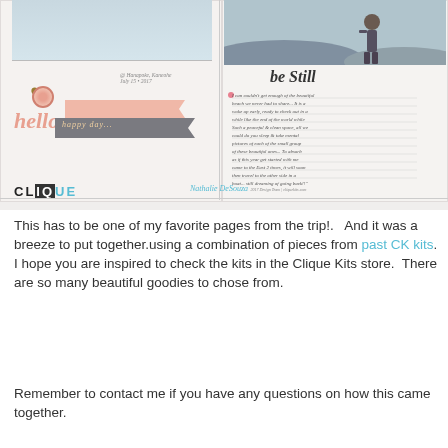[Figure (photo): Scrapbook layout spread showing two pages. Left page has decorative elements including a gold heart, pink flower, 'hello' text in coral/pink, pink and gray banner ribbons with 'happy day' text, and a date stamp. Right page shows a photograph of a person at a beach/rocky area at top, with 'be still' cursive text heading and handwritten journaling text below. Bottom bar shows 'CLIQUE' logo on left and 'Nathalie DeSouza 2017 Design Team | cliquekits.com' attribution on right.]
This has to be one of my favorite pages from the trip!.   And it was a breeze to put together.using a combination of pieces from past CK kits.  I hope you are inspired to check the kits in the Clique Kits store.  There are so many beautiful goodies to chose from.
Remember to contact me if you have any questions on how this came together.